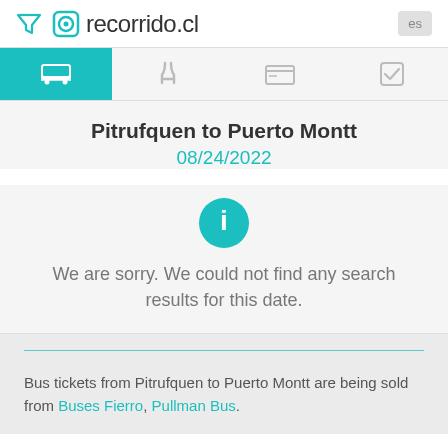recorrido.cl
Pitrufquen to Puerto Montt
08/24/2022
We are sorry. We could not find any search results for this date.
Bus tickets from Pitrufquen to Puerto Montt are being sold from Buses Fierro, Pullman Bus.